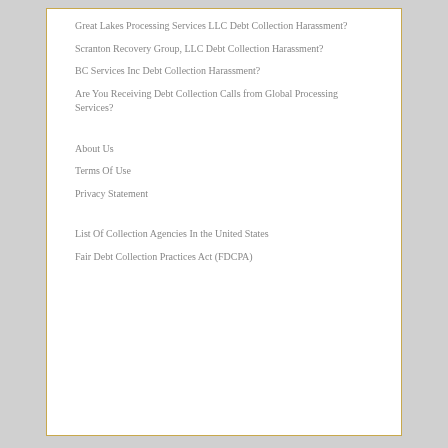Great Lakes Processing Services LLC Debt Collection Harassment?
Scranton Recovery Group, LLC Debt Collection Harassment?
BC Services Inc Debt Collection Harassment?
Are You Receiving Debt Collection Calls from Global Processing Services?
About Us
Terms Of Use
Privacy Statement
List Of Collection Agencies In the United States
Fair Debt Collection Practices Act (FDCPA)